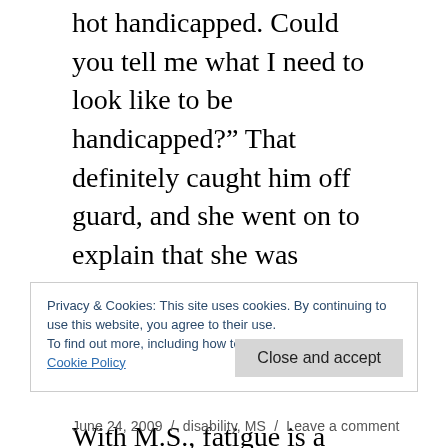hot handicapped. Could you tell me what I need to look like to be handicapped?” That definitely caught him off guard, and she went on to explain that she was having a good day, and on other days she might be using a cane or a chair.
With M.S., fatigue is a major issue, and even if a person is able to walk in a straight line without a cane on a given day, walking a distance can use all of her energy. So parking nearby helps
Privacy & Cookies: This site uses cookies. By continuing to use this website, you agree to their use.
To find out more, including how to control cookies, see here:
Cookie Policy
[Close and accept]
June 24, 2009  /  disability, MS  /  Leave a comment